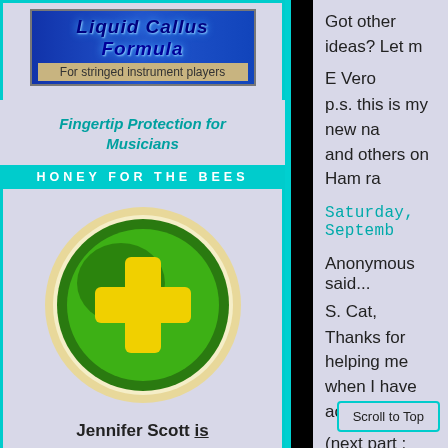[Figure (illustration): Liquid Callus Formula product banner with text 'For stringed instrument players' on a tan background strip]
Fingertip Protection for Musicians
HONEY FOR THE BEES
[Figure (logo): Circular green bee-related logo with a yellow plus/cross symbol on green gradient circle with beige ring border]
Jennifer Scott is
THE BEE WRANGLER
Got other ideas? Let m
E Vero
p.s. this is my new na and others on Ham ra
Saturday, Septemb
Anonymous said...
S. Cat,
Thanks for helping me when I have access to
(next part : sorry very
I wish that everyone w virus/vaccines:
Scroll to Top